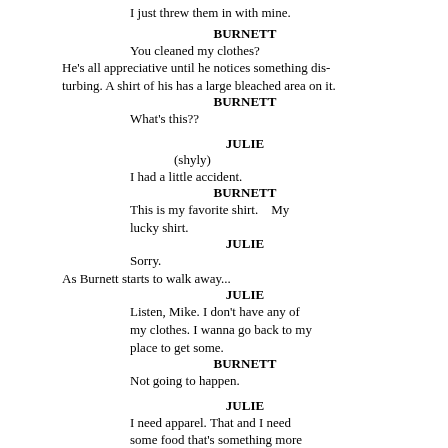I just threw them in with mine.
BURNETT
You cleaned my clothes?
He's all appreciative until he notices something disturbing. A shirt of his has a large bleached area on it.
BURNETT
What's this??
JULIE
(shyly)
I had a little accident.
BURNETT
This is my favorite shirt.   My lucky shirt.
JULIE
Sorry.
As Burnett starts to walk away...
JULIE
Listen, Mike. I don't have any of my clothes. I wanna go back to my place to get some.
BURNETT
Not going to happen.
JULIE
I need apparel. That and I need some food that's something more than a cold, slab of fear.
BURNETT
Slab of fear?